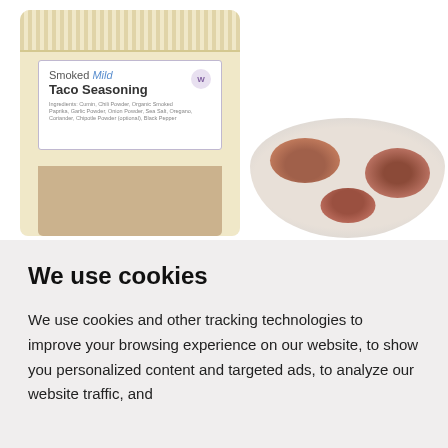[Figure (photo): A kraft paper stand-up pouch bag of Smoked Mild Taco Seasoning with a label and a transparent window showing the dark reddish-brown spice powder inside]
[Figure (photo): A white bowl or plate containing several small mounds of reddish-brown taco seasoning spice powder]
We use cookies
We use cookies and other tracking technologies to improve your browsing experience on our website, to show you personalized content and targeted ads, to analyze our website traffic, and